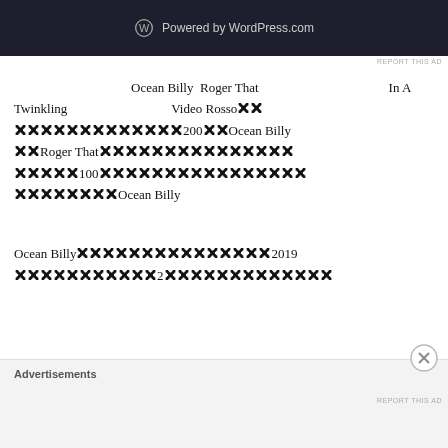[Figure (screenshot): WordPress.com powered banner in dark navy background with WordPress logo and text 'Powered by WordPress.com']
REPORT THIS AD
Ocean Billy　Roger That　　　　　　　　　　　　　In A Twinkling　　　　　　　　　Video Rosso🅧🅧🅧🅧🅧🅧🅧🅧🅧🅧🅧🅧🅧🅧🅧200🅧🅧Ocean Billy　　　　🅧🅧Roger That🅧🅧🅧🅧🅧🅧🅧🅧🅧🅧🅧🅧🅧🅧🅧🅧🅧🅧🅧🅧100🅧🅧🅧🅧🅧🅧🅧🅧🅧🅧🅧🅧🅧🅧🅧🅧🅧🅧🅧🅧🅧🅧🅧🅧🅧Ocean Billy
Ocean Billy🅧🅧🅧🅧🅧🅧🅧🅧🅧🅧🅧🅧🅧🅧🅧2019🅧🅧🅧🅧🅧🅧🅧🅧🅧🅧🅧2🅧🅧🅧🅧🅧🅧🅧🅧🅧🅧🅧🅧🅧🅧
Advertisements
REPORT THIS AD